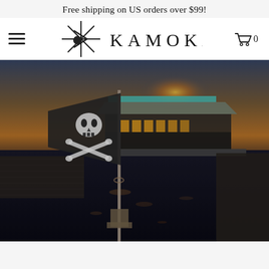Free shipping on US orders over $99!
[Figure (logo): Kamoka brand logo with stylized compass/star mark and text KAMOKA]
[Figure (photo): Photograph of a pirate skull-and-crossbones flag on a pole in the foreground, with a waterfront building on stilts over dark water at sunset/dusk in the background]